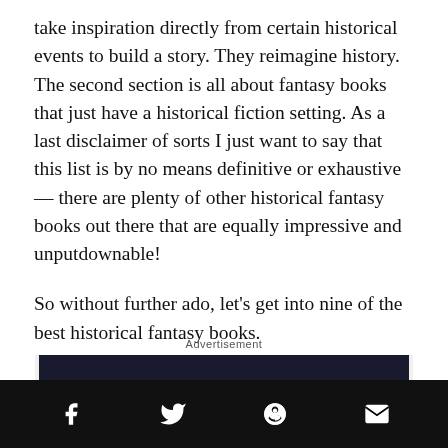take inspiration directly from certain historical events to build a story. They reimagine history. The second section is all about fantasy books that just have a historical fiction setting. As a last disclaimer of sorts I just want to say that this list is by no means definitive or exhaustive — there are plenty of other historical fantasy books out there that are equally impressive and unputdownable!

So without further ado, let's get into nine of the best historical fantasy books.
Advertisement
[Figure (other): Advertisement banner with dark background and decorative floral/botanical motifs in red and teal]